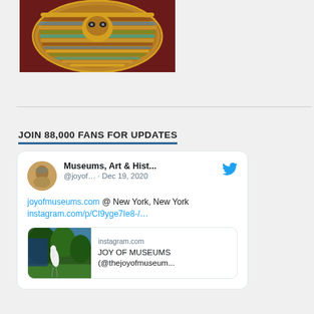[Figure (photo): Partial view of an ancient Egyptian artifact — appears to be an ornate golden collar or pectoral piece with colorful gemstone inlays, on a dark red background]
JOIN 88,000 FANS FOR UPDATES
[Figure (screenshot): Twitter/social media card showing a tweet from 'Museums, Art & Hist...' (@joyof...) dated Dec 19, 2020. Tweet text: 'joyofmuseums.com @ New York, New York instagram.com/p/CI9yge7Ie8-/...' with an embedded Instagram preview card showing a bird image and text 'instagram.com — JOY OF MUSEUMS (@thejoyofmuseum...']